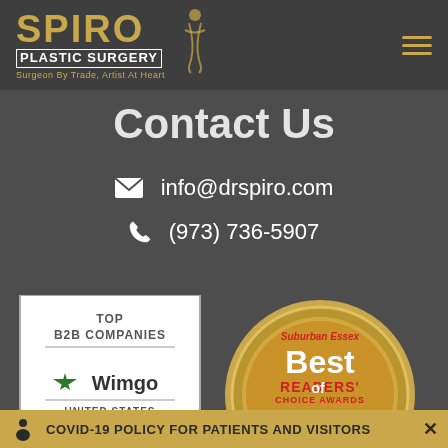[Figure (logo): Spiro Plastic Surgery logo with golden text, female silhouette figure, and tagline 'Surgeon By Trade, Artist At Heart']
Contact Us
info@drspiro.com
(973) 736-5907
[Figure (illustration): Wimgo Top B2B Companies badge - white house/pentagon shaped badge with green star logo and text 'TOP B2B COMPANIES - Wimgo - UNITED STATES']
[Figure (illustration): Suburban Essex Best of Essex Readers Choice Awards 2019 - gold circular medal badge]
COVID-19 POLICY FOR PATIENTS AND VISITORS